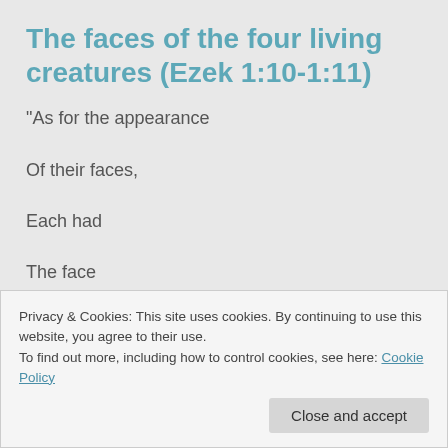The faces of the four living creatures (Ezek 1:10-1:11)
“As for the appearance
Of their faces,
Each had
The face
Privacy & Cookies: This site uses cookies. By continuing to use this website, you agree to their use.
To find out more, including how to control cookies, see here: Cookie Policy